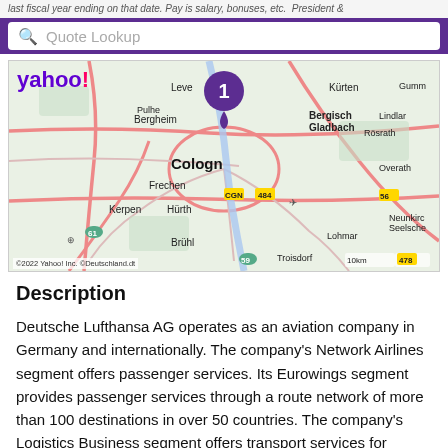last fiscal year ending on that date. Pay is salary, bonuses, etc. President &
Quote Lookup
[Figure (map): Yahoo! map showing Cologne, Germany area with a purple location pin marked '1'. Map shows roads, surrounding cities including Bergisch Gladbach, Leverkusen, Frechen, Hürth, Brühl, Troisdorf, Lohmar, Rosrath, Kerpen, Bergheim. Copyright 2022 Yahoo! Inc. © Deutschland.dt]
Description
Deutsche Lufthansa AG operates as an aviation company in Germany and internationally. The company's Network Airlines segment offers passenger services. Its Eurowings segment provides passenger services through a route network of more than 100 destinations in over 50 countries. The company's Logistics Business segment offers transport services for various cargoes, including general cargo, dangerous goods, valuables, and perishables. It also provides charter services with